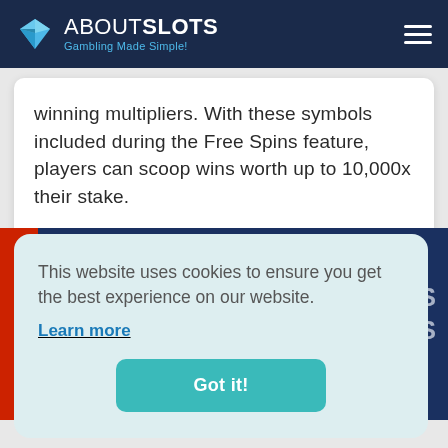ABOUTSLOTS — Gambling Made Simple!
winning multipliers. With these symbols included during the Free Spins feature, players can scoop wins worth up to 10,000x their stake.
This website uses cookies to ensure you get the best experience on our website.
Learn more
Got it!